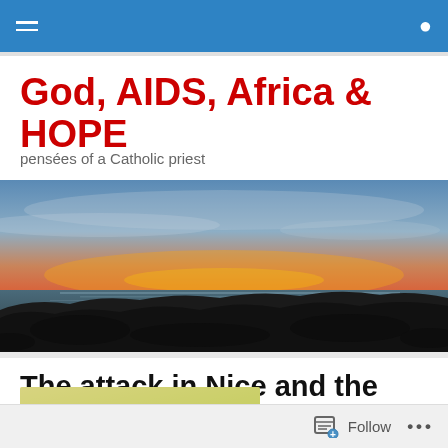Navigation bar with hamburger menu and search icon
God, AIDS, Africa & HOPE
pensées of a Catholic priest
[Figure (photo): Panoramic sunset over the ocean with colorful sky in shades of orange, pink, and blue, with rocky coastline silhouetted in the foreground.]
The attack in Nice and the choice of words
[Figure (photo): Partial view of a sign or banner with text reading 'TERRORISTE' or similar, with green and yellow coloring.]
Follow  ...